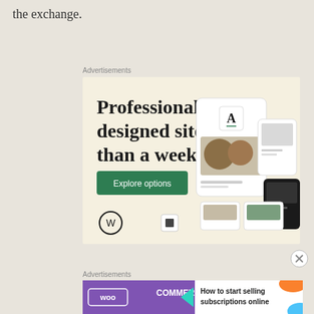the exchange.
Advertisements
[Figure (screenshot): WordPress.com advertisement: 'Professionally designed sites in less than a week' with green 'Explore options' button and website mockup images on cream background]
[Figure (other): Close/dismiss button circle with X]
Advertisements
[Figure (screenshot): WooCommerce advertisement: 'How to start selling subscriptions online' with WooCommerce logo on purple background and colorful geometric shapes]